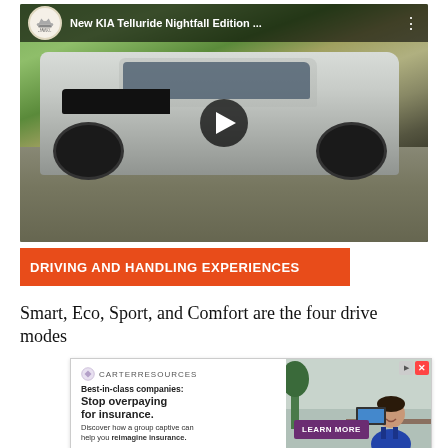[Figure (screenshot): YouTube video thumbnail showing a KIA Telluride Nightfall Edition SUV driving on a road. The video player shows a channel icon with a crown logo labeled 'Family Channel', the title 'New KIA Telluride Nightfall Edition...', a three-dot menu, and a play button overlay in the center.]
DRIVING AND HANDLING EXPERIENCES
Smart, Eco, Sport, and Comfort are the four drive modes
[Figure (screenshot): Advertisement overlay: CarterResources logo with 'Best-in-class companies: Stop overpaying for insurance. Discover how a group captive can help you reimagine insurance.' with a LEARN MORE button and a photo of a smiling businessman. Ad close and play icons in top right corner.]